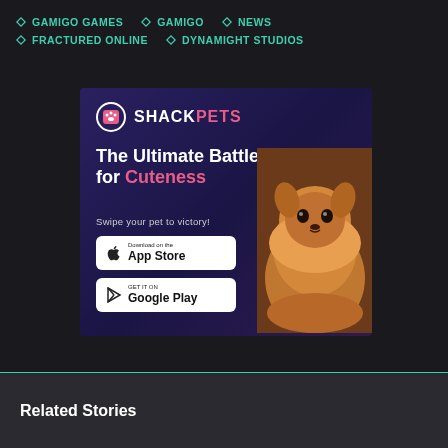GAMIGO GAMES
GAMIGO
NEWS
FRACTURED ONLINE
DYNAMIGHT STUDIOS
[Figure (illustration): ShackPets app advertisement banner with logo, headline 'The Ultimate Battle for Cuteness', subtext 'Swipe your pet to victory!', App Store and Google Play download buttons, and a Pomeranian dog photo]
Related Stories